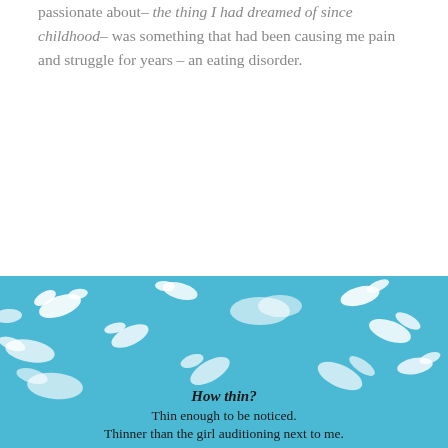passionate about– the thing I had dreamed of since childhood– was something that had been causing me pain and struggle for years – an eating disorder.
The day I put a tight little leotard on my body was the day I became obsessed about being thin.
[Figure (illustration): Blue sky background with white bird silhouettes (doves/birds) flying in various directions, scattered throughout the image. At the bottom, overlaid text reads: How thin? / Thin enough to be noticed. / Thinner than the girl auditioning next to me.]